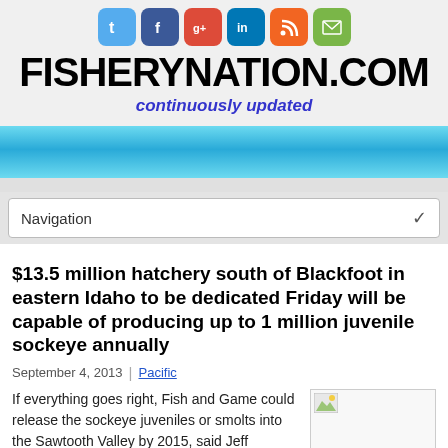[Figure (screenshot): Social media icons: Twitter (blue), Facebook (dark blue), Google+ (red), LinkedIn (blue), RSS (orange), Email (green)]
FISHERYNATION.COM
continuously updated
[Figure (other): Blue gradient banner bar]
Navigation
$13.5 million hatchery south of Blackfoot in eastern Idaho to be dedicated Friday will be capable of producing up to 1 million juvenile sockeye annually
September 4, 2013 | Pacific
If everything goes right, Fish and Game could release the sockeye juveniles or smolts into the Sawtooth Valley by 2015, said Jeff
[Figure (photo): Article thumbnail image placeholder with small image icon]